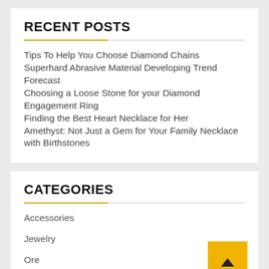RECENT POSTS
Tips To Help You Choose Diamond Chains
Superhard Abrasive Material Developing Trend Forecast
Choosing a Loose Stone for your Diamond Engagement Ring
Finding the Best Heart Necklace for Her
Amethyst: Not Just a Gem for Your Family Necklace with Birthstones
CATEGORIES
Accessories
Jewelry
Ore